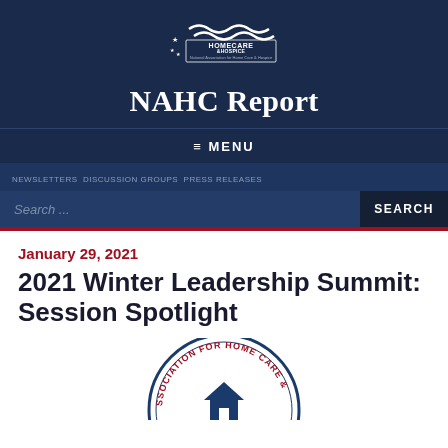[Figure (logo): Home Care & Hospice National Association for Home Care & Hospice logo with wave/flag design and stars]
NAHC Report
≡ MENU
NEWSLETTERS  DISCUSSION GROUPS  PRESS RELEASES
Search ...
SEARCH
January 29, 2021
2021 Winter Leadership Summit: Session Spotlight
[Figure (logo): National Association for Home Care & Hospice circular seal/logo in blue and red]